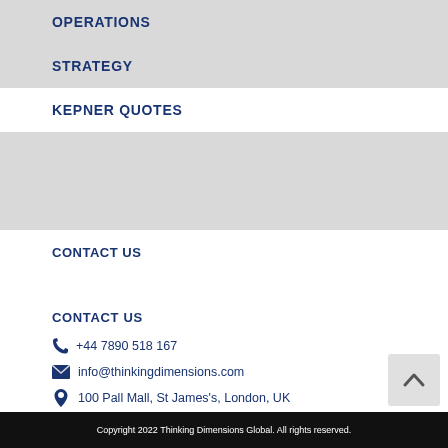OPERATIONS
STRATEGY
KEPNER QUOTES
CONTACT US
CONTACT US
+44 7890 518 167
info@thinkingdimensions.com
100 Pall Mall, St James's, London, UK
[Figure (infographic): Social media icons: Facebook, LinkedIn, Twitter]
Copyright 2022 Thinking Dimensions Global. All rights reserved.